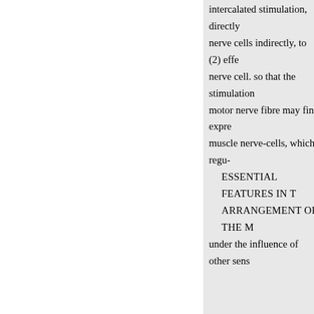intercalated stimulation, directly
nerve cells indirectly, to (2) effe
nerve cell. so that the stimulation
motor nerve fibre may find expre
muscle nerve-cells, which regu-
ESSENTIAL FEATURES IN T
ARRANGEMENT OF THE M
under the influence of other sens
The study of a simple scheme elements in the extremely primiti Changes in the animals environm (A, B, and C), which in Hydra ar by the central processes of such e diagram by a motor nerve-cell, o impulses stream from other inter the influence of those coming fro the intercalated cell c. The cells a
. Thus, there is provided a mec
C. may influence the nature of th